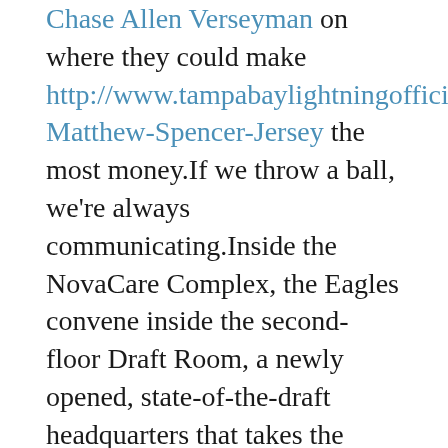Chase Allen Verseyman on where they could make http://www.tampabaylightningofficialonline.com/Matthew-Spencer-Jersey the most money.If we throw a ball, we're always communicating.Inside the NovaCare Complex, the Eagles convene inside the second-floor Draft Room, a newly opened, state-of-the-draft headquarters that takes the days of white walls and magnetic nameplates of a draft board and renders that concept into the dark ages.The reality, however, is that this unit might have a very different look in 2013.
The rookie first-round pick likely Authentic Chase Allen Jersey be utilized some capacity